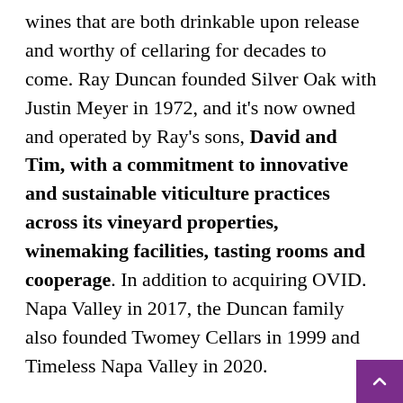wines that are both drinkable upon release and worthy of cellaring for decades to come. Ray Duncan founded Silver Oak with Justin Meyer in 1972, and it's now owned and operated by Ray's sons, David and Tim, with a commitment to innovative and sustainable viticulture practices across its vineyard properties, winemaking facilities, tasting rooms and cooperage. In addition to acquiring OVID. Napa Valley in 2017, the Duncan family also founded Twomey Cellars in 1999 and Timeless Napa Valley in 2020.
Along with his wife Kary, David will work with Chef Orsini to select optimum wine pairings from the family of Silver Oak for the meal. These wines from Twomey, Timeless Napa Valley and OVID. Napa